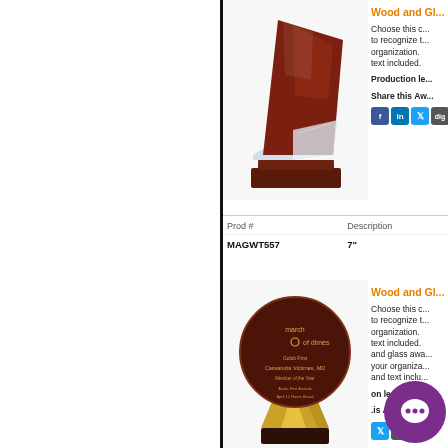[Figure (photo): Wood and glass angular trophy award on dark wood base]
Wood and Gl...
Choose this c... to recognize t... organization. text included.
Production le...
Share this Aw...
| Prod # | Description |
| --- | --- |
| MAGWT557 | 7" |
[Figure (photo): Round wood and gold trophy award with March of Dimes engraving]
Wood and Gl...
Choose this c... to recognize t... organization. text included. and glass awa... your organiza... and text inclu...
on le...
.is Aw...